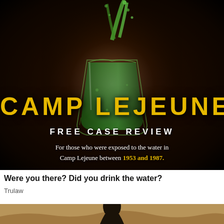[Figure (photo): Dark dramatic background with a glass of murky green liquid being poured/splashed, serving as hero image for Camp Lejeune water contamination advertisement]
CAMP LEJEUNE
FREE CASE REVIEW
For those who were exposed to the water in Camp Lejeune between 1953 and 1987.
Were you there? Did you drink the water?
Trulaw
[Figure (photo): Partial bottom image showing sandy/desert terrain with a partial figure]